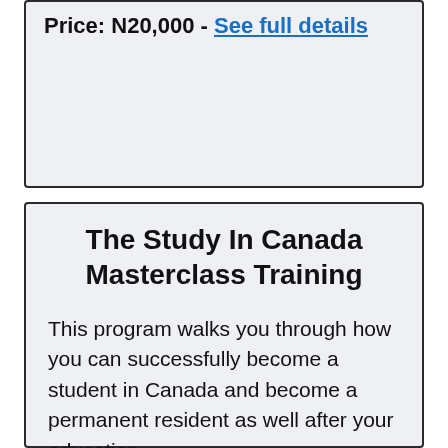Price: N20,000 - See full details
The Study In Canada Masterclass Training
This program walks you through how you can successfully become a student in Canada and become a permanent resident as well after your education.